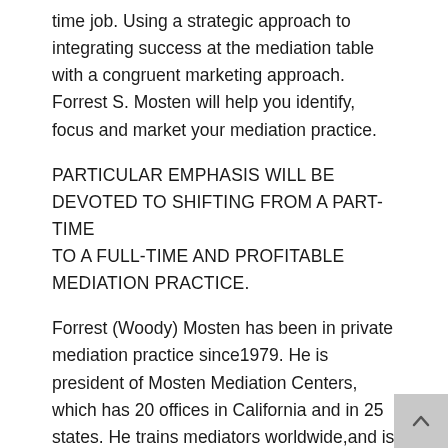time job. Using a strategic approach to integrating success at the mediation table with a congruent marketing approach. Forrest S. Mosten will help you identify, focus and market your mediation practice.
PARTICULAR EMPHASIS WILL BE DEVOTED TO SHIFTING FROM A PART-TIME TO A FULL-TIME AND PROFITABLE MEDIATION PRACTICE.
Forrest (Woody) Mosten has been in private mediation practice since1979. He is president of Mosten Mediation Centers, which has 20 offices in California and in 25 states. He trains mediators worldwide,and is a popular presenter at mediation conferences. He is the author of 4 books including Mediation Career Guide and Operating a Profitable Mediation Practice. He has received numerous awards and was named the 1999 Peacemaker of the Year by the Southern California Mediation Association for his